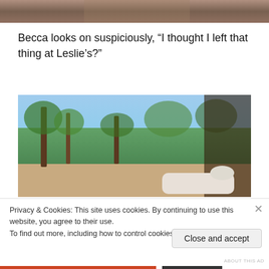[Figure (photo): Top portion of an outdoor photo, cropped at top of page]
Becca looks on suspiciously, “I thought I left that thing at Leslie’s?”
[Figure (photo): Outdoor photo taken from inside a barn or stable looking out at trees and blue sky, with a white horse visible at bottom right]
Privacy & Cookies: This site uses cookies. By continuing to use this website, you agree to their use.
To find out more, including how to control cookies, see here: Cookie Policy
Close and accept